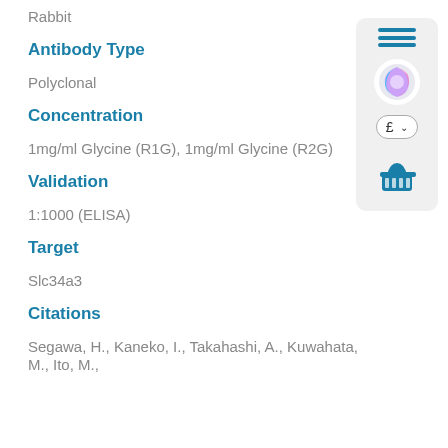Rabbit
Antibody Type
Polyclonal
Concentration
1mg/ml Glycine (R1G), 1mg/ml Glycine (R2G)
Validation
1:1000 (ELISA)
Target
Slc34a3
Citations
Segawa, H., Kaneko, I., Takahashi, A., Kuwahata, M., Ito, M.,